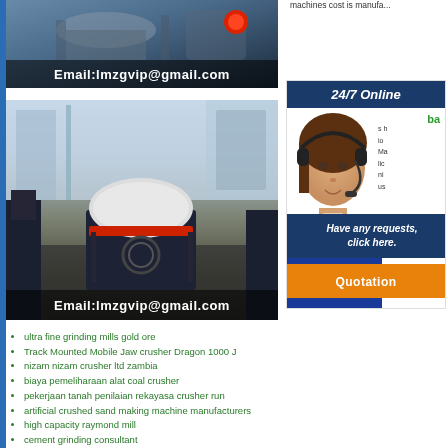[Figure (photo): Industrial machinery photo with email overlay showing Email:lmzgvip@gmail.com]
[Figure (photo): Large industrial crusher/grinding mill equipment in a showroom with email overlay showing Email:lmzgvip@gmail.com]
machines cost is manufa...
[Figure (photo): 24/7 Online customer service representative with headset, blue jacket, with Have any requests click here button and Quotation button]
ultra fine grinding mills gold ore
Track Mounted Mobile Jaw crusher Dragon 1000 J
nizam nizam crusher ltd zambia
biaya pemeliharaan alat coal crusher
pekerjaan tanah penilaian rekayasa crusher run
artificial crushed sand making machine manufacturers
high capacity raymond mill
cement grinding consultant
stonecrusher mill India
coal grinding mill supply in India
extraction crushing Grinding and flotation of platinum
buy halaman bottle caps bottle crusher online